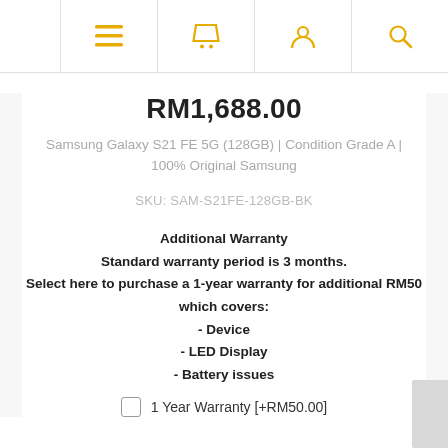Navigation bar with menu, cart, account, and search icons
RM1,688.00
Samsung Galaxy S21 FE 5G (128GB) | Condition Grade A | 100% Original Samsung
SKU: SAM-S21FE-128GB-BK
Additional Warranty
Standard warranty period is 3 months.
Select here to purchase a 1-year warranty for additional RM50 which covers:
- Device
- LED Display
- Battery issues
1 Year Warranty [+RM50.00]